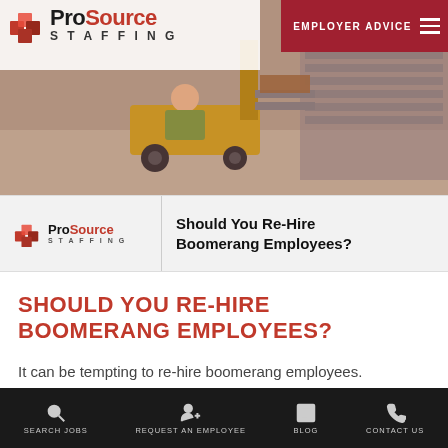[Figure (screenshot): Hero banner with forklift/warehouse worker image and ProSource Staffing logo header with Employer Advice navigation button]
[Figure (logo): ProSource Staffing card strip with logo on left and article title preview on right: Should You Re-Hire Boomerang Employees?]
SHOULD YOU RE-HIRE BOOMERANG EMPLOYEES?
It can be tempting to re-hire boomerang employees. After all, you know them well and they've done good work for you in the past. But...
SEARCH JOBS   REQUEST AN EMPLOYEE   BLOG   CONTACT US